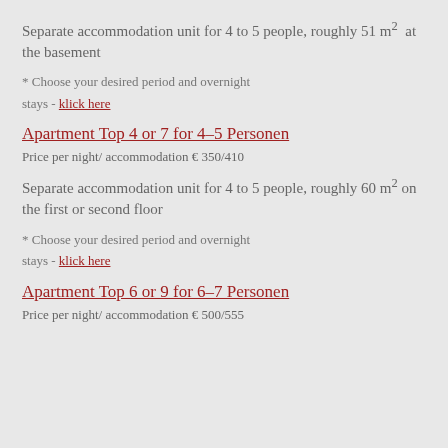Separate accommodation unit for 4 to 5 people, roughly 51 m² at the basement
* Choose your desired period and overnight stays - klick here
Apartment Top 4 or 7 for 4–5 Personen
Price per night/ accommodation € 350/410
Separate accommodation unit for 4 to 5 people, roughly 60 m² on the first or second floor
* Choose your desired period and overnight stays - klick here
Apartment Top 6 or 9 for 6–7 Personen
Price per night/ accommodation € 500/555